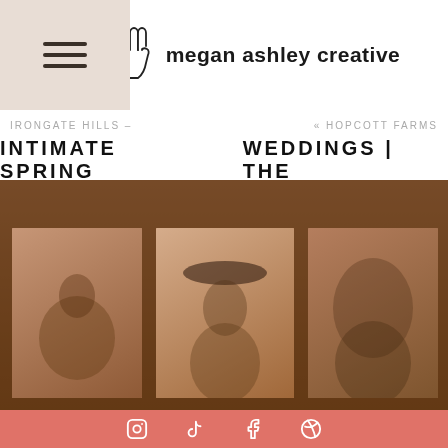megan ashley creative
IRONGATE HILLS – « HOPCOTT FARMS
INTIMATE SPRING WEDDINGS | THE
[Figure (photo): Brown-toned hero image with three overlapping couple/portrait photographs on a dark brown background]
SPECIALIZING IN WEST COAST INTIMATE WEDDINGS & STEAMY COUPLES SESSIONS.
Social media icons: Instagram, TikTok, Facebook, Pinterest